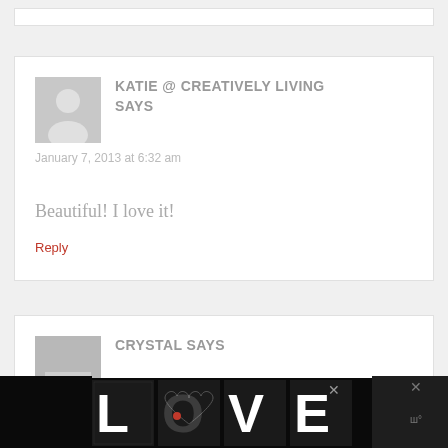[Figure (other): Top edge of a white comment block, partially visible]
KATIE @ CREATIVELY LIVING SAYS
January 7, 2013 at 6:32 am
Beautiful! I love it!
Reply
CRYSTAL SAYS
[Figure (illustration): Advertisement banner showing decorative LOVE text art in black and white with a red heart element. Includes close buttons on both sides.]